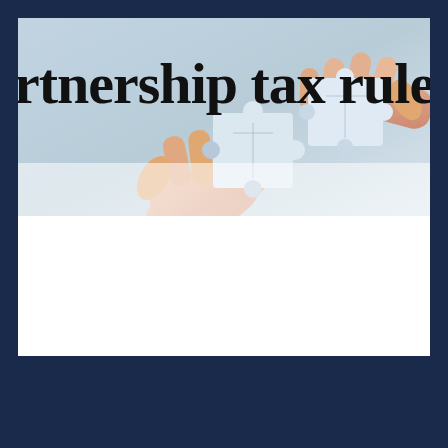[Figure (photo): Banner image showing two hands assembling puzzle pieces against a light blue background, with large bold text 'rtnership tax rules' partially visible]
rtnership tax rules
Partners may have to report more income on tax returns than they receive in cash
August 12, 2022